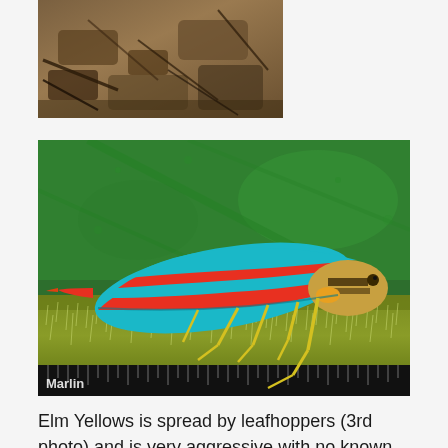[Figure (photo): Partial photo at top of page showing brown/earthy colored debris or bark on the ground]
[Figure (photo): Close-up macro photograph of a leafhopper insect with distinctive teal/turquoise and red/orange striped wings, yellow legs, sitting on a green hairy plant stem. Watermark 'Marlin' visible in bottom left corner.]
Elm Yellows is spread by leafhoppers (3rd photo) and is very aggressive with no known cure. Infection and death of the tree's phloem